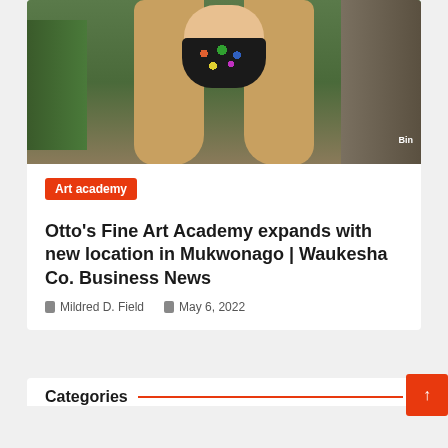[Figure (photo): A person wearing a colorful black face mask with paint splatters, with long blonde hair, standing in front of shelves with art supplies including a container labeled 'Bin']
Art academy
Otto's Fine Art Academy expands with new location in Mukwonago | Waukesha Co. Business News
Mildred D. Field   May 6, 2022
Categories